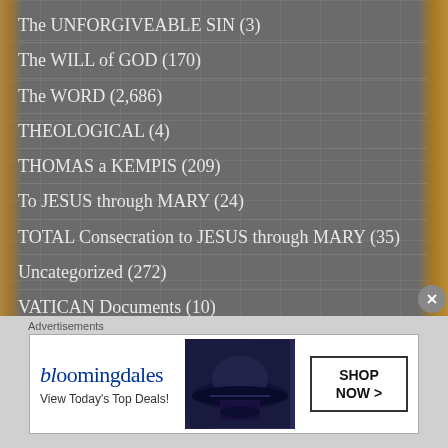The UNFORGIVEABLE SIN (3)
The WILL of GOD (170)
The WORD (2,686)
THEOLOGICAL (4)
THOMAS a KEMPIS (209)
To JESUS through MARY (24)
TOTAL Consecration to JESUS through MARY (35)
Uncategorized (272)
VATICAN Documents (10)
VATICAN Resources (101)
Ven Servant of God John A Hardon (9)
Advertisements
[Figure (screenshot): Bloomingdale's advertisement banner with logo, 'View Today's Top Deals!' text, woman in black hat, and 'SHOP NOW >' button]